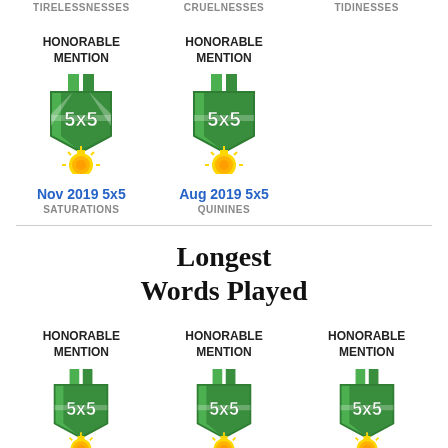TIRELESSNESSES
CRUELNESSES
TIDINESSES
HONORABLE MENTION
[Figure (illustration): 5x5 medal badge - green shield with 5x5 text and gold sunburst medallion]
HONORABLE MENTION
[Figure (illustration): 5x5 medal badge - green shield with 5x5 text and gold sunburst medallion]
Nov 2019 5x5
SATURATIONS
Aug 2019 5x5
QUININES
Longest Words Played
HONORABLE MENTION
[Figure (illustration): 5x5 medal badge - green shield with 5x5 text and gold sunburst medallion]
HONORABLE MENTION
[Figure (illustration): 5x5 medal badge - green shield with 5x5 text and gold sunburst medallion]
HONORABLE MENTION
[Figure (illustration): 5x5 medal badge - green shield with 5x5 text and gold sunburst medallion]